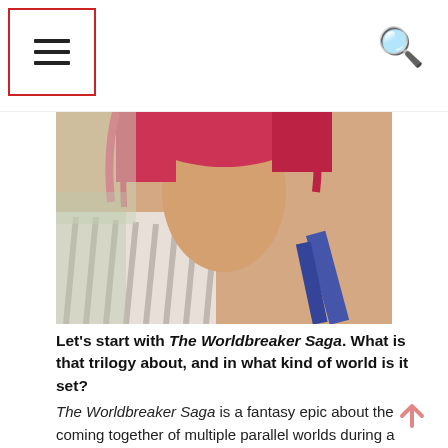≡  🔍
[Figure (photo): Close-up photo of a woman with pink/red hair and a striped top, cropped from chin level downward]
Let's start with The Worldbreaker Saga. What is that trilogy about, and in what kind of world is it set?
The Worldbreaker Saga is a fantasy epic about the coming together of multiple parallel worlds during a celestial conjunction. They have to battle it out to determine which will survive before the heavens re-align.